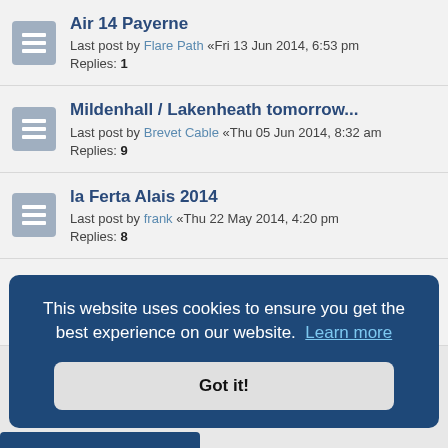Air 14 Payerne
Last post by Flare Path «Fri 13 Jun 2014, 6:53 pm
Replies: 1
Mildenhall / Lakenheath tomorrow...
Last post by Brevet Cable «Thu 05 Jun 2014, 8:32 am
Replies: 9
la Ferta Alais 2014
Last post by frank «Thu 22 May 2014, 4:20 pm
Replies: 8
UK Trip Week 20
Last post by Nielis «Sun 11 May 2014, 7:56 am
Replies: 6
This website uses cookies to ensure you get the best experience on our website. Learn more
Got it!